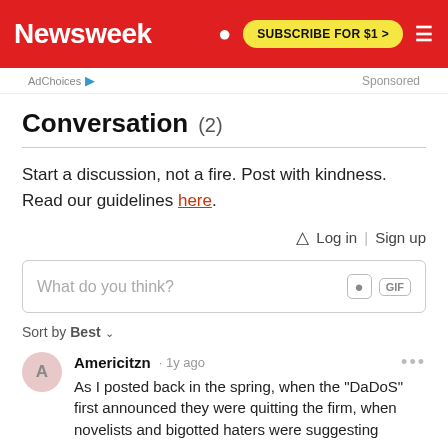Newsweek  SUBSCRIBE FOR $1 >
AdChoices  Sponsored
Conversation (2)
Start a discussion, not a fire. Post with kindness. Read our guidelines here.
Log in | Sign up
What do you think?
Sort by Best
Americitzn · 1y ago
As I posted back in the spring, when the "DaDoS" first announced they were quitting the firm, when novelists and bigotted haters were suggesting